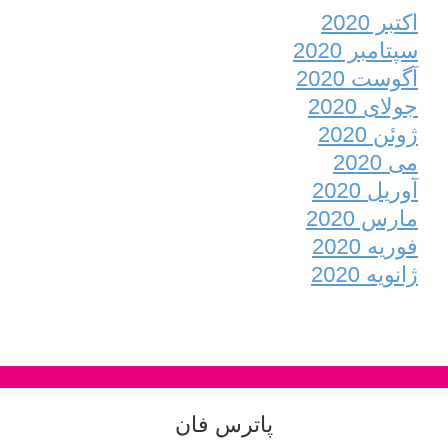اکتبر 2020
سپتامبر 2020
آگوست 2020
جولای 2020
ژوئن 2020
می 2020
آوریل 2020
مارس 2020
فوریه 2020
ژانویه 2020
پاترس فان